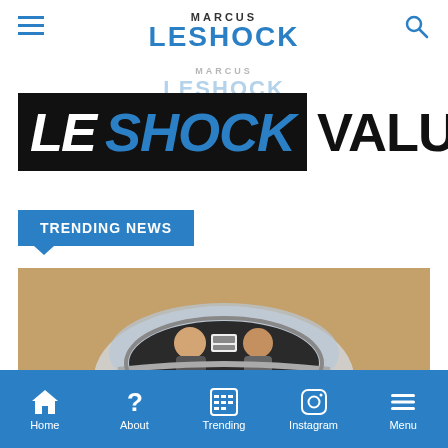Marcus Leshock
[Figure (screenshot): Shock Value text banner with bold black and italic lettering on white background]
TRENDING NEWS
[Figure (photo): Two people visible in a small aircraft cockpit canopy, viewed from outside]
Home | About | Trending | Instagram | Menu